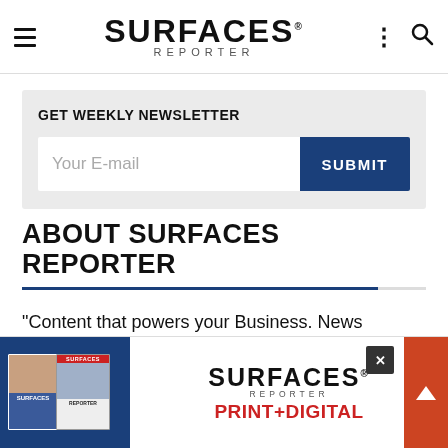SURFACES REPORTER
GET WEEKLY NEWSLETTER
Your E-mail
SUBMIT
ABOUT SURFACES REPORTER
"Content that powers your Business. News...
[Figure (infographic): Bottom advertisement banner for Surfaces Reporter Print+Digital with magazine covers and logo]
SURFACES REPORTER PRINT+DIGITAL